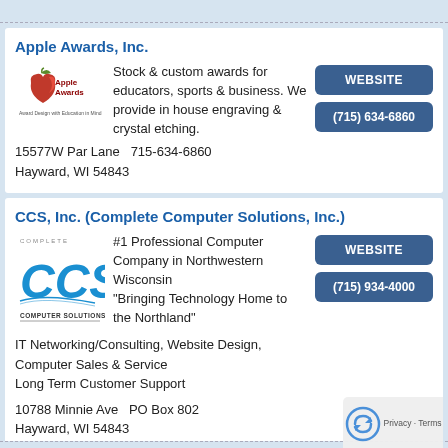Apple Awards, Inc.
[Figure (logo): Apple Awards logo with apple graphic and text 'Apple Awards' and 'Award Design with Education in Mind']
Stock & custom awards for educators, sports & business. We provide in house engraving & crystal etching.
WEBSITE
(715) 634-6860
15577W Par Lane  715-634-6860
Hayward, WI 54843
CCS, Inc. (Complete Computer Solutions, Inc.)
[Figure (logo): Complete Computer Solutions CCS logo with blue CCS letters and 'COMPUTER SOLUTIONS' text]
#1 Professional Computer Company in Northwestern Wisconsin
"Bringing Technology Home to the Northland"
IT Networking/Consulting, Website Design, Computer Sales & Service
Long Term Customer Support
WEBSITE
(715) 934-4000
10788 Minnie Ave  PO Box 802
Hayward, WI 54843